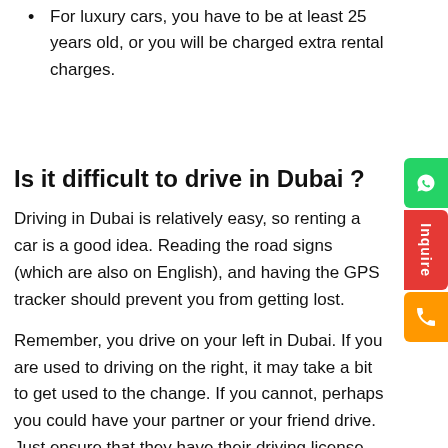For luxury cars, you have to be at least 25 years old, or you will be charged extra rental charges.
Is it difficult to drive in Dubai ?
Driving in Dubai is relatively easy, so renting a car is a good idea. Reading the road signs (which are also on English), and having the GPS tracker should prevent you from getting lost.
Remember, you drive on your left in Dubai. If you are used to driving on the right, it may take a bit to get used to the change. If you cannot, perhaps you could have your partner or your friend drive. Just ensure that they have their driving license.